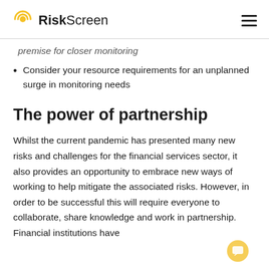RiskScreen
premise for closer monitoring
Consider your resource requirements for an unplanned surge in monitoring needs
The power of partnership
Whilst the current pandemic has presented many new risks and challenges for the financial services sector, it also provides an opportunity to embrace new ways of working to help mitigate the associated risks. However, in order to be successful this will require everyone to collaborate, share knowledge and work in partnership. Financial institutions have